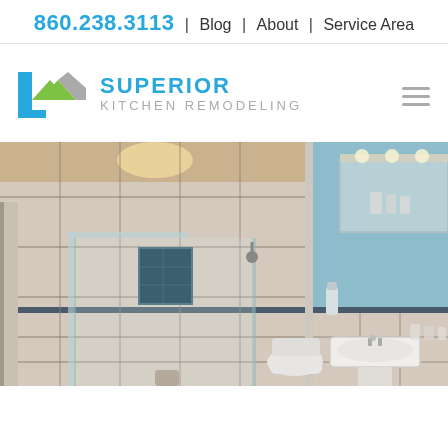860.238.3113 | Blog | About | Service Area
[Figure (logo): Superior Kitchen Remodeling logo with green and blue house icon and company name]
[Figure (photo): Remodeled bathroom showing a large glass-enclosed walk-in shower with white tile and blue accent stripe, toilet, and pedestal sink with blue walls and vanity mirror on the right side]